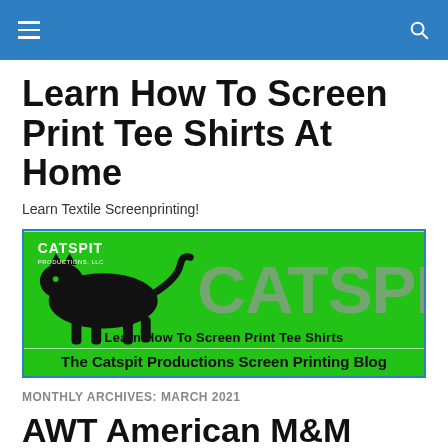navigation bar
Learn How To Screen Print Tee Shirts At Home
Learn Textile Screenprinting!
[Figure (logo): Catspit Productions LLC green banner logo with panther silhouette and text 'CATSPIT' and 'Learn How To Screen Print Tee Shirts' with caption 'The Catspit Productions Screen Printing Blog']
MONTHLY ARCHIVES: MARCH 2021
AWT American M&M Graphic & Textile Screen Printing